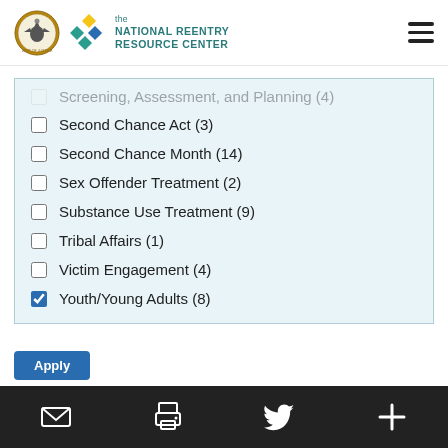the NATIONAL REENTRY RESOURCE CENTER
Screening, Assessment, and Planning (4)
Second Chance Act (3)
Second Chance Month (14)
Sex Offender Treatment (2)
Substance Use Treatment (9)
Tribal Affairs (1)
Victim Engagement (4)
Youth/Young Adults (8)
Email | Print | Twitter | More